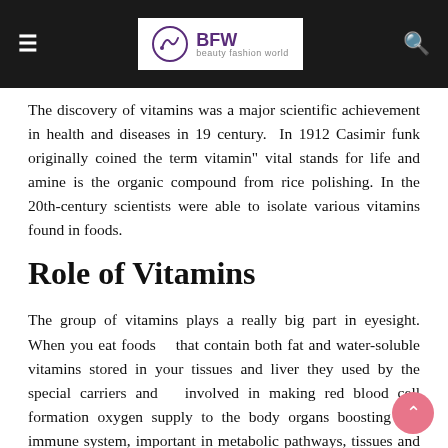BFW beauty fashion world
The discovery of vitamins was a major scientific achievement in health and diseases in 19 century.  In 1912 Casimir funk originally coined the term vitamin" vital stands for life and amine is the organic compound from rice polishing. In the 20th-century scientists were able to isolate various vitamins found in foods.
Role of Vitamins
The group of vitamins plays a really big part in eyesight. When you eat foods   that contain both fat and water-soluble vitamins stored in your tissues and liver they used by the special carriers and  involved in making red blood cell formation oxygen supply to the body organs boosting our immune system, important in metabolic pathways, tissues and bone formation, in addition they are important